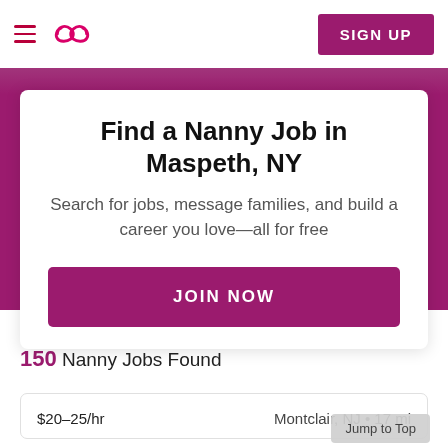Sittercity — SIGN UP
Find a Nanny Job in Maspeth, NY
Search for jobs, message families, and build a career you love—all for free
JOIN NOW
150 Nanny Jobs Found
$20–25/hr   Montclair, NJ • 17 mi
Jump to Top